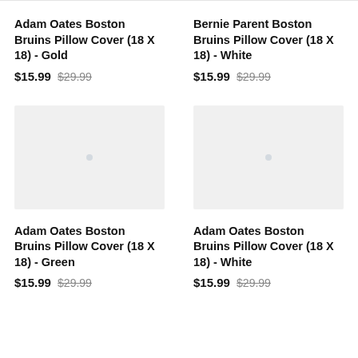Adam Oates Boston Bruins Pillow Cover (18 X 18) - Gold
$15.99 $29.99
Bernie Parent Boston Bruins Pillow Cover (18 X 18) - White
$15.99 $29.99
[Figure (photo): Product image placeholder (light gray box) for Adam Oates Boston Bruins Pillow Cover - Green]
[Figure (photo): Product image placeholder (light gray box) for Adam Oates Boston Bruins Pillow Cover - White]
Adam Oates Boston Bruins Pillow Cover (18 X 18) - Green
$15.99 $29.99
Adam Oates Boston Bruins Pillow Cover (18 X 18) - White
$15.99 $29.99